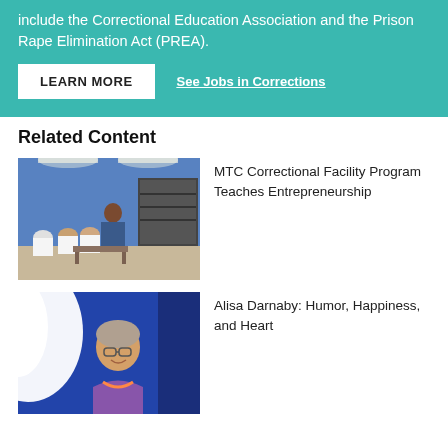include the Correctional Education Association and the Prison Rape Elimination Act (PREA).
LEARN MORE
See Jobs in Corrections
Related Content
[Figure (photo): Instructor teaching a class in a correctional facility classroom; students seated in white uniforms, blue walls, bookshelves in background.]
MTC Correctional Facility Program Teaches Entrepreneurship
[Figure (photo): Older woman with glasses smiling, partially lit by bright light, appears to be in a classroom or facility setting.]
Alisa Darnaby: Humor, Happiness, and Heart